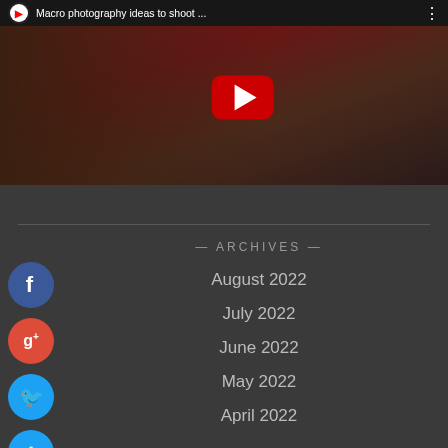[Figure (screenshot): YouTube video thumbnail showing a photographer doing macro photography, with a red YouTube play button overlay and video title 'Macro photography ideas to shoot ...' in top bar]
— ARCHIVES —
August 2022
July 2022
June 2022
May 2022
April 2022